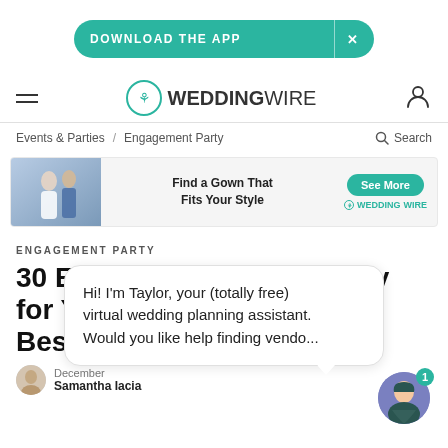DOWNLOAD THE APP
[Figure (logo): WeddingWire logo with teal circular icon and text]
Events & Parties / Engagement Party    Search
[Figure (infographic): Advertisement: Find a Gown That Fits Your Style — See More — WeddingWire]
ENGAGEMENT PARTY
30 Engagement Gifts to Buy for Your Best Fr...
December...
[Figure (illustration): Chat bubble: Hi! I'm Taylor, your (totally free) virtual wedding planning assistant. Would you like help finding vendo...]
Samantha Iacia